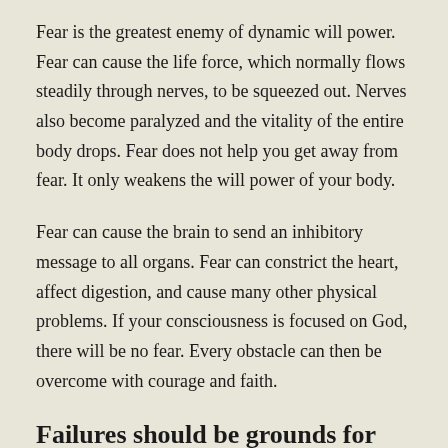Fear is the greatest enemy of dynamic will power. Fear can cause the life force, which normally flows steadily through nerves, to be squeezed out. Nerves also become paralyzed and the vitality of the entire body drops. Fear does not help you get away from fear. It only weakens the will power of your body.
Fear can cause the brain to send an inhibitory message to all organs. Fear can constrict the heart, affect digestion, and cause many other physical problems. If your consciousness is focused on God, there will be no fear. Every obstacle can then be overcome with courage and faith.
Failures should be grounds for